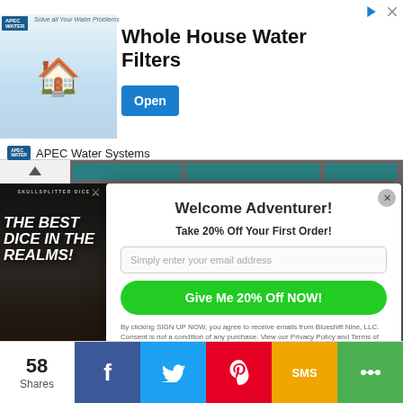[Figure (screenshot): APEC Water Systems advertisement banner showing 'Whole House Water Filters' with an Open button and brand logo]
[Figure (screenshot): Modal popup with warrior/viking image on left. Right side shows 'Welcome Adventurer! Take 20% Off Your First Order!' email signup form with green CTA button 'Give Me 20% Off NOW!']
STARTING GOLD
SURVIVAL
• UNEARTHED ARCANA
• WARLOCK
58 Shares